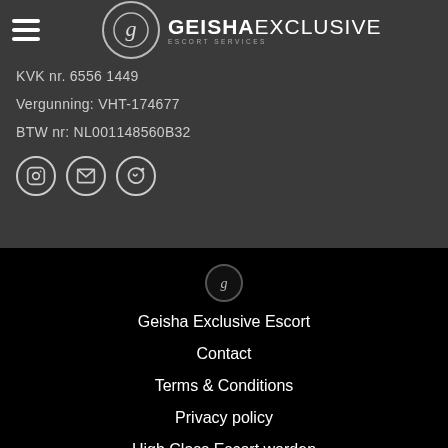GEISHA EXCLUSIVE Escort Services
KVK nr. 6556 1449
Vergunning: VHT-174677
BTW nr: NL001148560B32
[Figure (logo): Social media icons: Instagram, Email, WhatsApp]
[Figure (logo): Geisha Exclusive small circular logo]
Geisha Exclusive Escort
Contact
Terms & Conditions
Privacy policy
High Class Escort worden